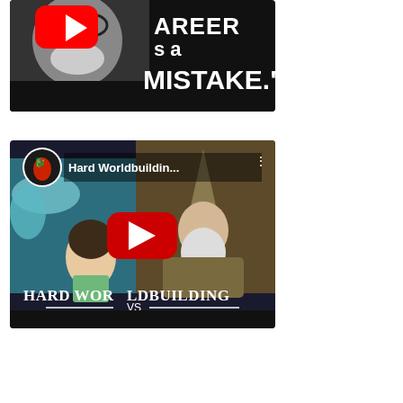[Figure (screenshot): YouTube video thumbnail showing a black-and-white photo of an older man with glasses and a white beard/mustache, with large white bold text reading 'AREER s a MISTAKE.' and a YouTube play button overlay in the upper left area.]
[Figure (screenshot): YouTube video thumbnail titled 'Hard Worldbuildin...' showing a collage of an anime character (from Spirited Away) and a wizard character (Gandalf), with red YouTube play button in center. Text overlay reads 'HARD WORLDBUILDING VS SOFT WORLDBUILDING'. Channel icon shows a red dragon logo in top-left.]